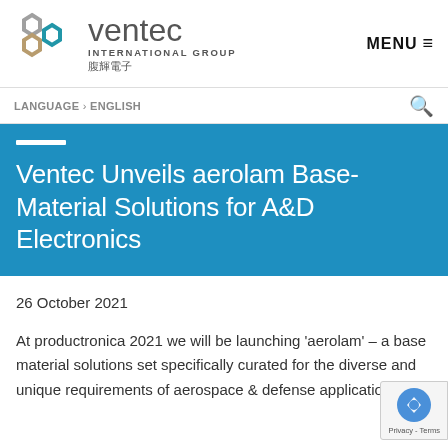ventec INTERNATIONAL GROUP 腹輝電子  MENU
LANGUAGE > ENGLISH
Ventec Unveils aerolam Base-Material Solutions for A&D Electronics
26 October 2021
At productronica 2021 we will be launching 'aerolam' – a base material solutions set specifically curated for the diverse and unique requirements of aerospace & defense applications.